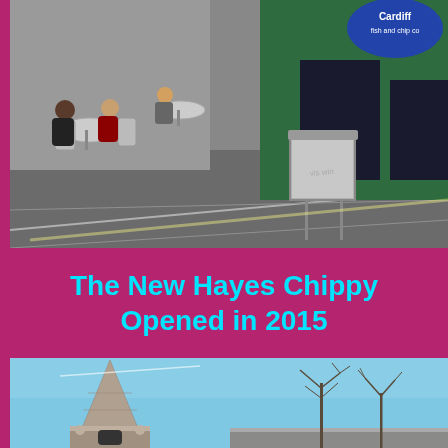[Figure (photo): Street scene showing outdoor cafe seating with people seated at metal chairs and tables on a paved pedestrian area. A green-clad building (Cardiff Fish and Chip Co) is visible in the background right, with a metal waste bin in the foreground.]
The New Hayes Chippy Opened in 2015
[Figure (photo): A church steeple/spire with ornate stonework against a clear blue sky, with bare winter trees visible to the right.]